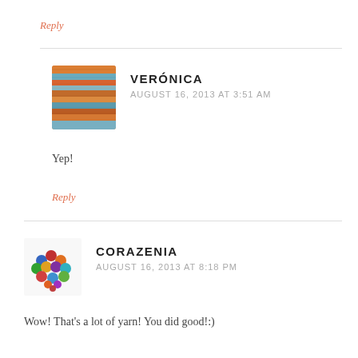Reply
VERÓNICA
AUGUST 16, 2013 AT 3:51 AM
Yep!
Reply
CORAZENIA
AUGUST 16, 2013 AT 8:18 PM
Wow! That's a lot of yarn! You did good!:)